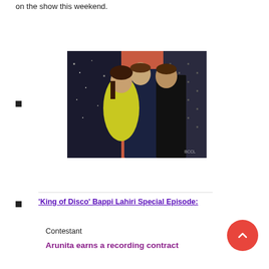on the show this weekend.
[Figure (photo): Three people posing together on a TV show set with orange/pink decor. A woman in a yellow outfit stands between two men in dark clothing.]
'King of Disco' Bappi Lahiri Special Episode:
Contestant
Arunita earns a recording contract